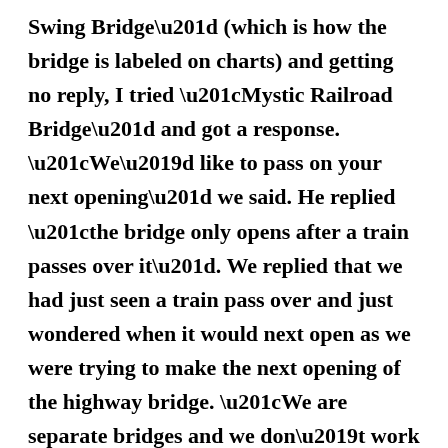Swing Bridge” (which is how the bridge is labeled on charts) and getting no reply, I tried “Mystic Railroad Bridge” and got a response. “We’d like to pass on your next opening” we said. He replied “the bridge only opens after a train passes over it”. We replied that we had just seen a train pass over and just wondered when it would next open as we were trying to make the next opening of the highway bridge. “We are separate bridges and we don’t work together” he replied. “OK sir, but can you